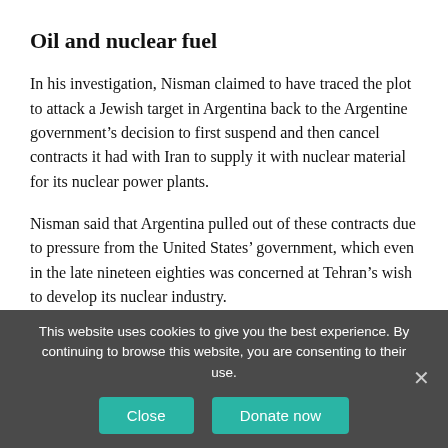Oil and nuclear fuel
In his investigation, Nisman claimed to have traced the plot to attack a Jewish target in Argentina back to the Argentine government’s decision to first suspend and then cancel contracts it had with Iran to supply it with nuclear material for its nuclear power plants.
Nisman said that Argentina pulled out of these contracts due to pressure from the United States’ government, which even in the late nineteen eighties was concerned at Tehran’s wish to develop its nuclear industry.
This website uses cookies to give you the best experience. By continuing to browse this website, you are consenting to their use.
Close
Donate now